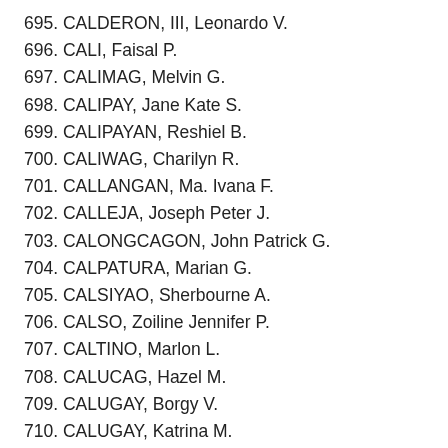695. CALDERON, III, Leonardo V.
696. CALI, Faisal P.
697. CALIMAG, Melvin G.
698. CALIPAY, Jane Kate S.
699. CALIPAYAN, Reshiel B.
700. CALIWAG, Charilyn R.
701. CALLANGAN, Ma. Ivana F.
702. CALLEJA, Joseph Peter J.
703. CALONGCAGON, John Patrick G.
704. CALPATURA, Marian G.
705. CALSIYAO, Sherbourne A.
706. CALSO, Zoiline Jennifer P.
707. CALTINO, Marlon L.
708. CALUCAG, Hazel M.
709. CALUGAY, Borgy V.
710. CALUGAY, Katrina M.